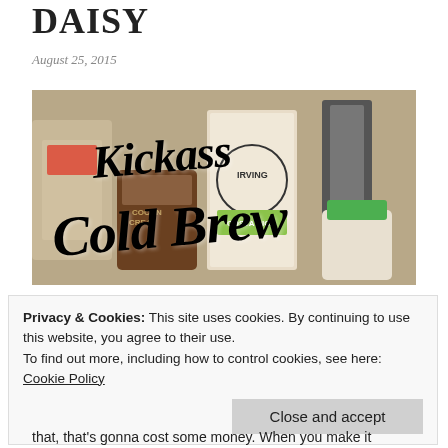DAISY
August 25, 2015
[Figure (photo): Photo of coffee cold brew ingredients on a kitchen counter including coconut cream, Irving Farm coffee bag (Costa Rica), and other items. Text overlay reads 'Kickass Cold Brew' in large script font.]
Privacy & Cookies: This site uses cookies. By continuing to use this website, you agree to their use.
To find out more, including how to control cookies, see here: Cookie Policy
Close and accept
that, that's gonna cost some money. When you make it